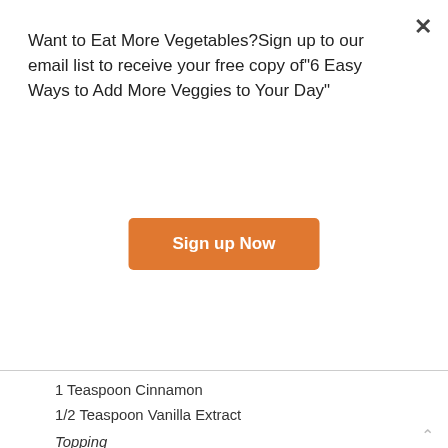Want to Eat More Vegetables?Sign up to our email list to receive your free copy of"6 Easy Ways to Add More Veggies to Your Day"
Sign up Now
1 Teaspoon Cinnamon
1/2 Teaspoon Vanilla Extract
Topping
6 Fresh Peaches
2 Tablespoons Honey
Reddiwhip
To make the batter:
Mix together flour, sugar and cinnamon in a large mixing bowl. Add eggs, milk, and vanilla extract. Mix until completely blended. Refrigerate batter for an hour or overnight (I prefer overnight). Heat a medium sautee pan over medium heat. Spray with cooking spray to prevent sticking. Mix batter and pour a little less than a quarter